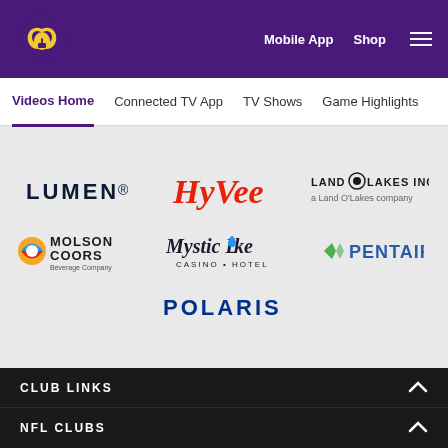Minnesota Vikings - Mobile App | Shop | Menu
Videos Home | Connected TV App | TV Shows | Game Highlights
[Figure (logo): Sponsors grid: LUMEN, Hy-Vee, LAND O'LAKES INC., MOLSON COORS Beverage Company, Mystic Lake Casino Hotel, PENTAIR, POLARIS]
CLUB LINKS
NFL CLUBS